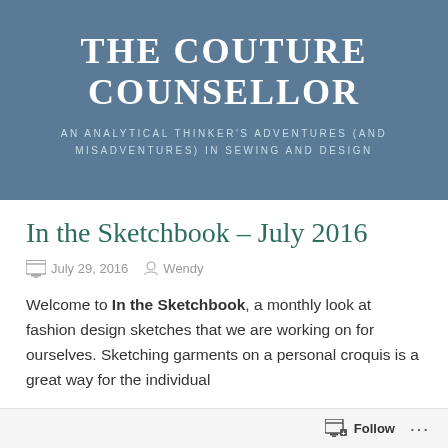THE COUTURE COUNSELLOR
AN ANALYTICAL THINKER'S ADVENTURES (AND MISADVENTURES) IN SEWING AND DESIGN
In the Sketchbook – July 2016
July 29, 2016   Wendy
Welcome to In the Sketchbook, a monthly look at fashion design sketches that we are working on for ourselves. Sketching garments on a personal croquis is a great way for the individual